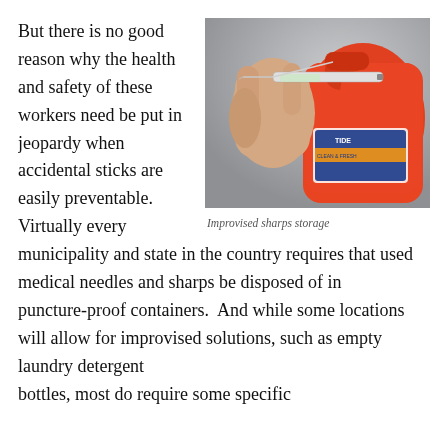But there is no good reason why the health and safety of these workers need be put in jeopardy when accidental sticks are easily preventable. Virtually every municipality and state in the country requires that used medical needles and sharps be disposed of in puncture-proof containers. And while some locations will allow for improvised solutions, such as empty laundry detergent bottles, most do require some specific
[Figure (photo): A hand holding a syringe being inserted into the opening of a large red laundry detergent container, illustrating improvised sharps storage.]
Improvised sharps storage